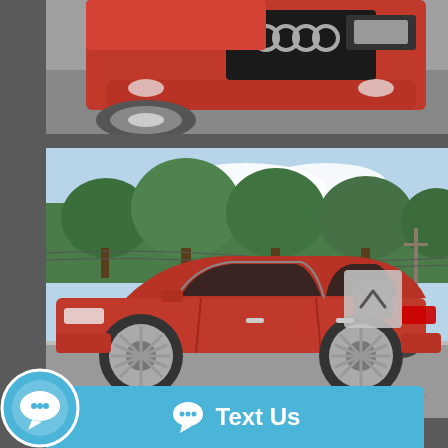[Figure (photo): Close-up front view of a red Audi A4, showing the grille with four-ring logo, front bumper, and partial wheel, shot from above on a gray asphalt surface.]
[Figure (photo): Side profile view of a red Audi A4 sedan parked on a street with green trees and blue sky in the background. Another dark SUV is visible behind it.]
[Figure (other): Blue 'Text Us' chat bar with speech bubble icon at the bottom of the screen, and a circular chat widget icon on the lower left.]